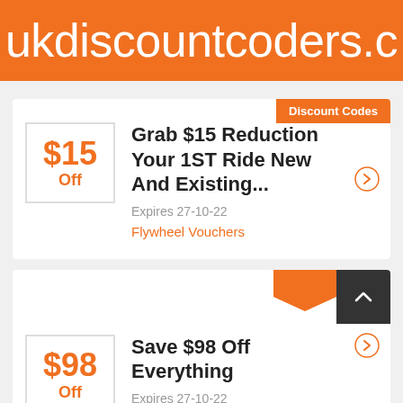ukdiscountcoders.c
Discount Codes
Grab $15 Reduction Your 1ST Ride New And Existing...
Expires 27-10-22
Flywheel Vouchers
Save $98 Off Everything
Expires 27-10-22